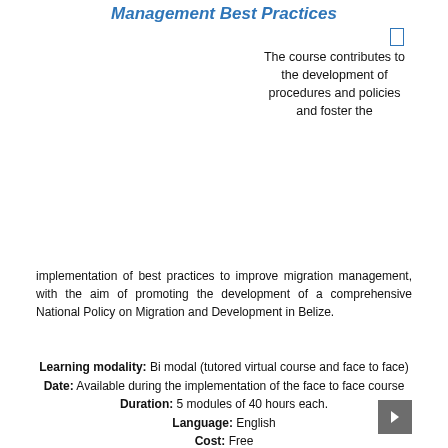Management Best Practices
The course contributes to the development of procedures and policies and foster the implementation of best practices to improve migration management, with the aim of promoting the development of a comprehensive National Policy on Migration and Development in Belize.
Learning modality: Bi modal (tutored virtual course and face to face)
Date: Available during the implementation of the face to face course
Duration: 5 modules of 40 hours each.
Language: English
Cost: Free
Geographical Coverage: Belize